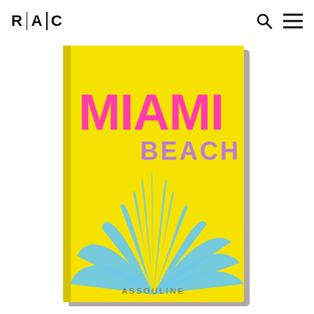R | A | C
[Figure (photo): Book cover of 'Miami Beach' by Assouline. Yellow cover with large pink bold text 'MIAMI' and lavender text 'BEACH' below it, with a stylized blue agave/palm leaf illustration on the lower half. Publisher name 'ASSOULINE' at the bottom.]